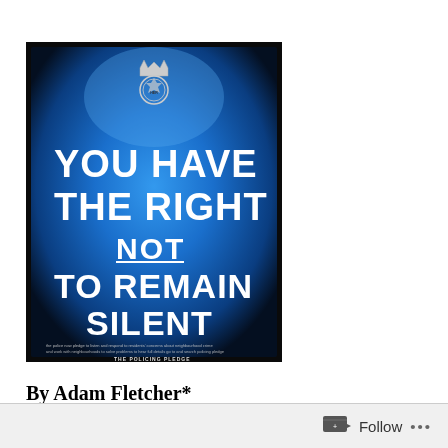[Figure (photo): A blue illuminated police notice/poster with a crown and police badge at the top, reading 'YOU HAVE THE RIGHT NOT TO REMAIN SILENT' in bold white capital letters. Small text at the bottom reads 'THE POLICING PLEDGE'. Background is very dark/black around the blue-lit poster.]
By Adam Fletcher*